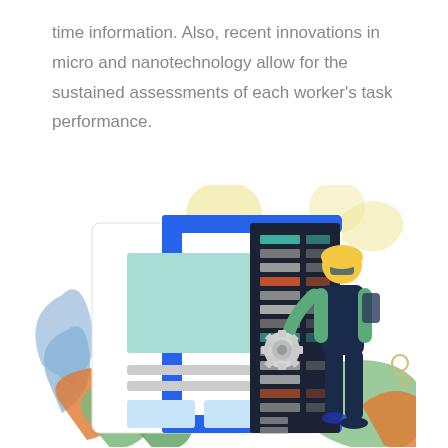time information. Also, recent innovations in micro and nanotechnology allow for the sustained assessments of each worker's task performance.
[Figure (illustration): Illustration of a worker in a hard hat and overalls holding a gear, standing next to a large clipboard/document with a teal rectangle and gray text lines, alongside a dark server rack with colored indicator lights, all surrounded by decorative leaves and plant elements in blue, green, orange, and yellow.]